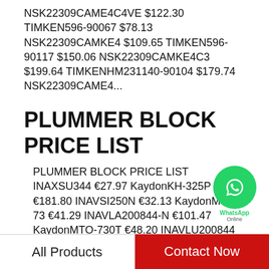NSK22309CAME4C4VE $122.30 TIMKEN596-90067 $78.13 NSK22309CAMKE4 $109.65 TIMKEN596-90117 $150.06 NSK22309CAMKE4C3 $199.64 TIMKENHM231140-90104 $179.74 NSK22309CAME4...
PLUMMER BLOCK PRICE LIST
PLUMMER BLOCK PRICE LIST INAXSU344 €27.97 KaydonKH-325P €181.80 INAVSI250N €32.13 KaydonMTO-73 €41.29 INAVLA200844-N €101.47 KaydonMTO-730T €48.20 INAVLU200844 €190.28 KaydonMTE-73 €17.17...
[Figure (other): WhatsApp Online button overlay with green circle phone icon, label 'WhatsApp Online']
Recommended Products
[Figure (other): Two product image placeholder boxes side by side]
All Products
Contact Now